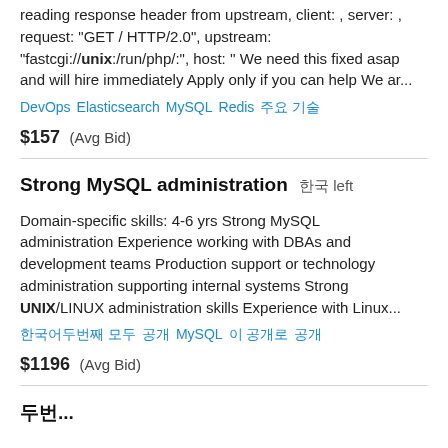reading response header from upstream, client: , server: , request: "GET / HTTP/2.0", upstream: "fastcgi://unix:/run/php/:", host: '' We need this fixed asap and will hire immediately Apply only if you can help We ar...
DevOps  Elasticsearch  MySQL  Redis  한국어 두번
$157  (Avg Bid)
Strong MySQL administration  한국 left
Domain-specific skills: 4-6 yrs Strong MySQL administration Experience working with DBAs and development teams Production support or technology administration supporting internal systems Strong UNIX/LINUX administration skills Experience with Linux...
한국어두번째 모두  MySQL  이 공개로  공개로
$1196  (Avg Bid)
두번...